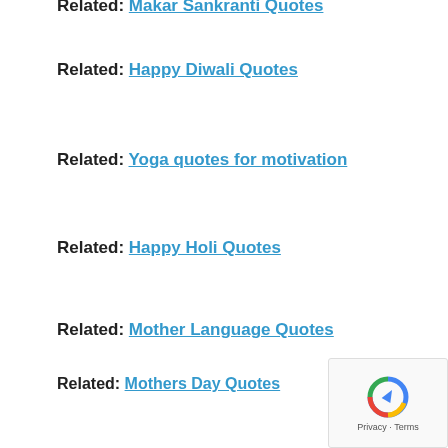Related: Makar Sankranti Quotes (partial, top-cropped)
Related: Happy Diwali Quotes
Related: Yoga quotes for motivation
Related: Happy Holi Quotes
Related: Mother Language Quotes
Related: Mothers Day Quotes
Related: Women Empowerment Quotes
Related: Indian Culture and Karma Quotes
[Figure (other): reCAPTCHA widget with Privacy and Terms text]